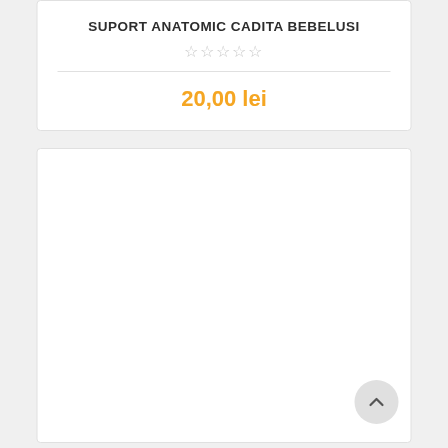SUPORT ANATOMIC CADITA BEBELUSI
★★★★★
20,00 lei
[Figure (other): Empty white content card section below the product info card]